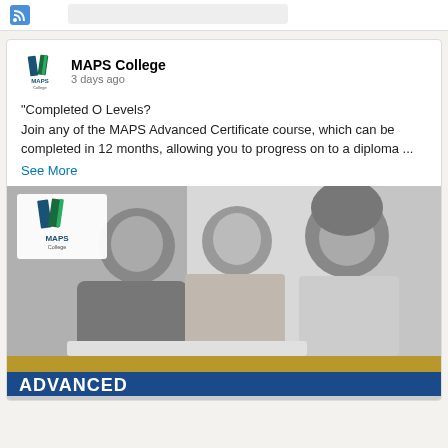[Figure (screenshot): Social media (LinkedIn-style) post from MAPS College, showing a black-and-white photo of three smiling students looking at a laptop, with MAPS College logo overlay, and a blue/gold 'ADVANCED' banner at the bottom of the image.]
MAPS College
3 days ago
"Completed O Levels?
Join any of the MAPS Advanced Certificate course, which can be completed in 12 months, allowing you to progress on to a diploma ...
See More